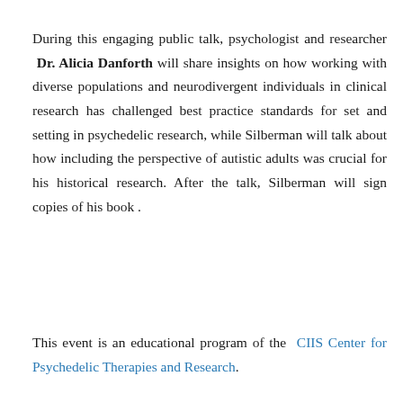During this engaging public talk, psychologist and researcher Dr. Alicia Danforth will share insights on how working with diverse populations and neurodivergent individuals in clinical research has challenged best practice standards for set and setting in psychedelic research, while Silberman will talk about how including the perspective of autistic adults was crucial for his historical research. After the talk, Silberman will sign copies of his book .
This event is an educational program of the CIIS Center for Psychedelic Therapies and Research.